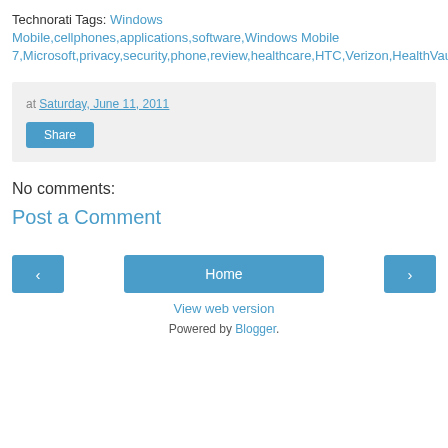Technorati Tags: Windows Mobile,cellphones,applications,software,Windows Mobile 7,Microsoft,privacy,security,phone,review,healthcare,HTC,Verizon,HealthVault
at Saturday, June 11, 2011
Share
No comments:
Post a Comment
‹
Home
›
View web version
Powered by Blogger.